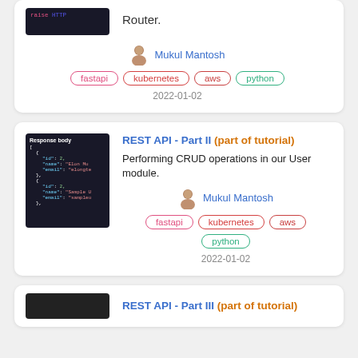[Figure (screenshot): Partial code screenshot showing 'raise HTTP' text on dark background]
Router.
Mukul Mantosh
fastapi
kubernetes
aws
python
2022-01-02
[Figure (screenshot): JSON response body screenshot showing id, name, email fields on dark background]
REST API - Part II (part of tutorial)
Performing CRUD operations in our User module.
Mukul Mantosh
fastapi
kubernetes
aws
python
2022-01-02
[Figure (screenshot): Partial screenshot at bottom of page]
REST API - Part III (part of tutorial)